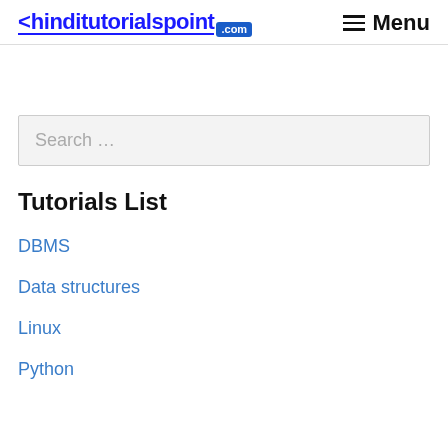<hinditutorialspoint .com  Menu
Search …
Tutorials List
DBMS
Data structures
Linux
Python